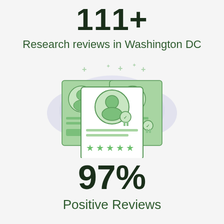111+
Research reviews in Washington DC
[Figure (infographic): Illustration of three review cards with person icons, stars, and a badge/medal icon, shown in green tones on a light lavender background with decorative plus and star symbols]
97%
Positive Reviews